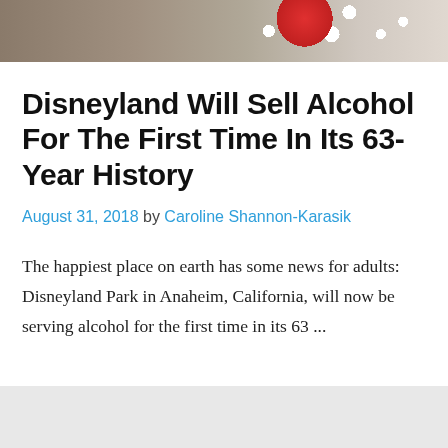[Figure (photo): Top portion of a photo showing Minnie Mouse character in red polka dot outfit at Disneyland, with castle in background]
Disneyland Will Sell Alcohol For The First Time In Its 63-Year History
August 31, 2018 by Caroline Shannon-Karasik
The happiest place on earth has some news for adults: Disneyland Park in Anaheim, California, will now be serving alcohol for the first time in its 63 ...